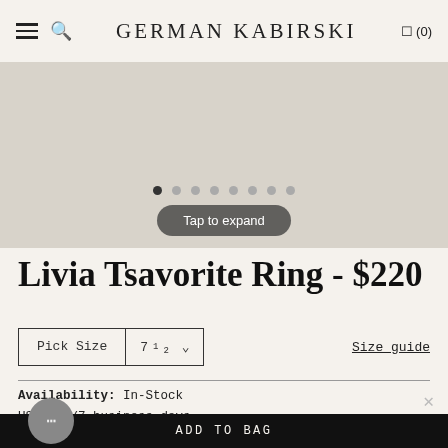GERMAN KABIRSKI
[Figure (photo): Product image area with carousel dots and Tap to expand button]
Livia Tsavorite Ring - $220
Pick Size  7½  Size guide
Availability: In-Stock
USA - 5/7 business days
International - 10/15 business days
ADD TO BAG